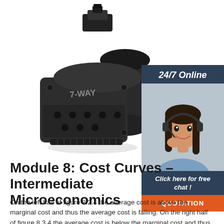[Figure (photo): Black 7-WAY electrical connector/plug, a heavy-duty trailer connector component, shown at an angle against a white background.]
[Figure (photo): 24/7 Online support advertisement panel showing a smiling woman with a headset, dark blue background with text 'Click here for free chat!' and an orange 'QUOTATION' button.]
Module 8: Cost Curves – Intermediate Microeconomics
On the left half of figure 8.2.4 the average cost is above the marginal cost and thus the average cost is falling. On the right half of figure 8.3.4 the average cost is below the marginal cost and thus